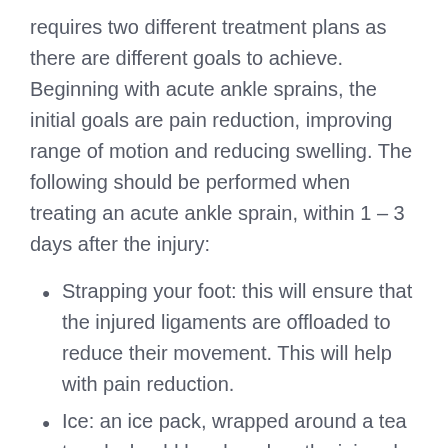requires two different treatment plans as there are different goals to achieve. Beginning with acute ankle sprains, the initial goals are pain reduction, improving range of motion and reducing swelling. The following should be performed when treating an acute ankle sprain, within 1 – 3 days after the injury:
Strapping your foot: this will ensure that the injured ligaments are offloaded to reduce their movement. This will help with pain reduction.
Ice: an ice pack, wrapped around a tea towel, should be placed on the injured part of your foot for approximately 10 minutes, 4 times per day. This will help initially to